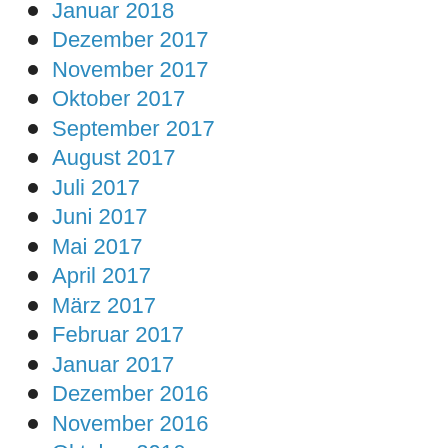Januar 2018
Dezember 2017
November 2017
Oktober 2017
September 2017
August 2017
Juli 2017
Juni 2017
Mai 2017
April 2017
März 2017
Februar 2017
Januar 2017
Dezember 2016
November 2016
Oktober 2016